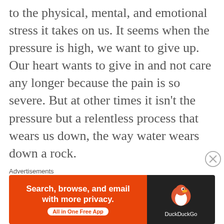to the physical, mental, and emotional stress it takes on us. It seems when the pressure is high, we want to give up. Our heart wants to give in and not care any longer because the pain is so severe. But at other times it isn't the pressure but a relentless process that wears us down, the way water wears down a rock.

If she were to ever look back and reflect on what all she has done for those she loves, I am confident there would not be one ounce of regret, wondering if she could have done more. I genuinely believe she gave us everything she had to give and to this day
[Figure (other): DuckDuckGo advertisement banner: orange left panel with text 'Search, browse, and email with more privacy. All in One Free App' and dark right panel with DuckDuckGo duck logo and brand name.]